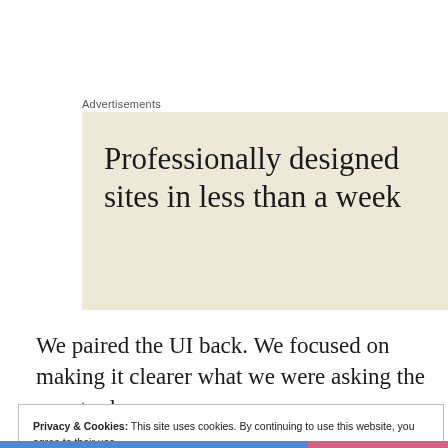Advertisements
[Figure (illustration): Advertisement banner with beige/cream background showing text: 'Professionally designed sites in less than a week']
We paired the UI back. We focused on making it clearer what we were asking the user to do.
Privacy & Cookies: This site uses cookies. By continuing to use this website, you agree to their use.
To find out more, including how to control cookies, see here: Cookie Policy
Close and accept